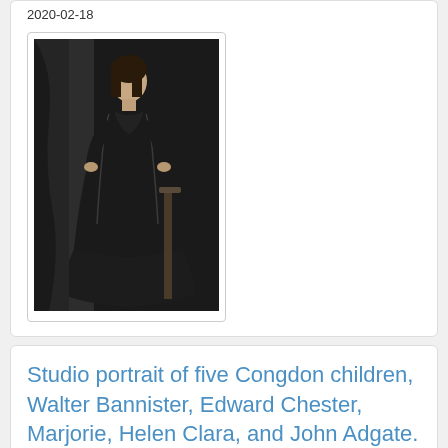2020-02-18
[Figure (photo): Black and white studio portrait of a woman in Victorian-era dark dress]
Studio portrait of five Congdon children, Walter Bannister, Edward Chester, Marjorie, Helen Clara, and John Adgate.
Contributed By: Archives and Special Collections, Kathryn A. Martin Library, University of Minnesota Duluth
Last Updated: 2020-02-18